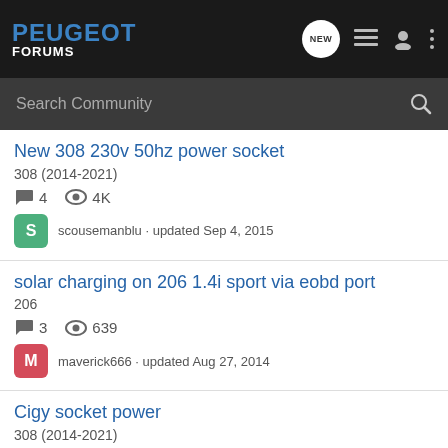PEUGEOT FORUMS
Search Community
New 308 230v 50hz power socket
308 (2014-2021)
4 comments · 4K views
scousemanblu · updated Sep 4, 2015
solar charging on 206 1.4i sport via eobd port
206
3 comments · 639 views
maverick666 · updated Aug 27, 2014
Cigy socket power
308 (2014-2021)